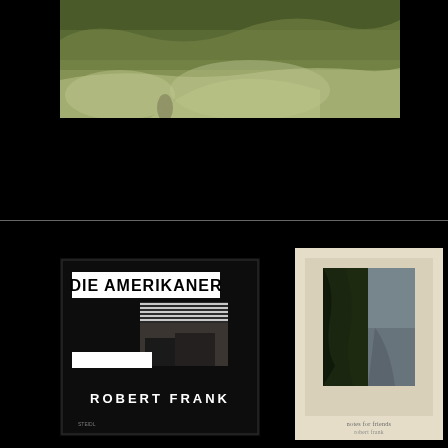[Figure (photo): Coastal landscape photograph showing rocky cliffs with ocean waves, green vegetation on top of cliffs, with small rock formations visible in the water]
[Figure (photo): Book cover of 'Die Amerikaner' by Robert Frank. Black cover with bold white text title 'DIE AMERIKANER' at top, photographic image of a building with striped awning in center, and 'ROBERT FRANK' in large bold white letters at bottom. Publisher 'STEIDL' at lower left.]
[Figure (photo): Book cover of 'Notes for Friends' by Robert Frank. Cream/beige cover with a vertical rectangular black and white photograph of trees and a path in the center. Small text at bottom reads 'notes for friends robert frank'.]